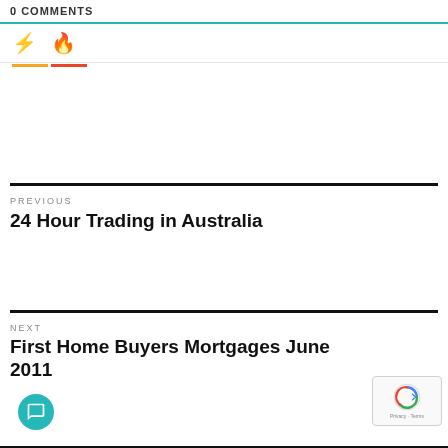0 COMMENTS
⚡ 🔥
PREVIOUS
24 Hour Trading in Australia
NEXT
First Home Buyers Mortgages June 2011